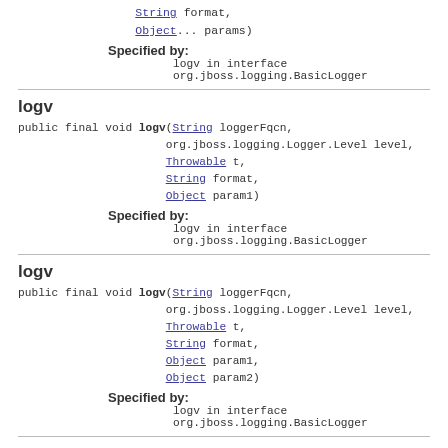String format,
Object... params)
Specified by:
logv in interface org.jboss.logging.BasicLogger
logv
public final void logv(String loggerFqcn,
                      org.jboss.logging.Logger.Level level,
                      Throwable t,
                      String format,
                      Object param1)
Specified by:
logv in interface org.jboss.logging.BasicLogger
logv
public final void logv(String loggerFqcn,
                      org.jboss.logging.Logger.Level level,
                      Throwable t,
                      String format,
                      Object param1,
                      Object param2)
Specified by:
logv in interface org.jboss.logging.BasicLogger